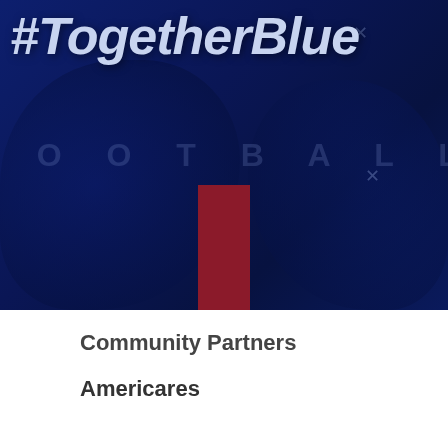[Figure (photo): Dark blue-tinted hero image showing football players with a red vertical bar overlay and the hashtag #TogetherBlue text. The word FOOTBALL appears as a watermark across the middle.]
#TogetherBlue
Community Partners
Americares